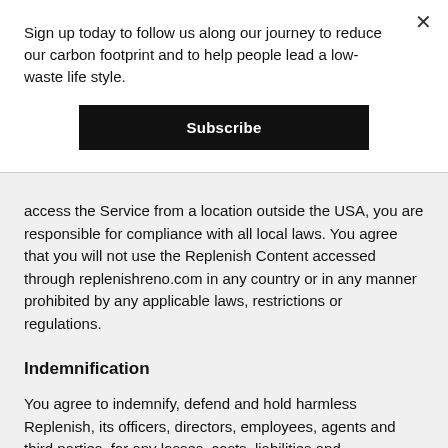Sign up today to follow us along our journey to reduce our carbon footprint and to help people lead a low-waste life style.
[Figure (other): Subscribe button (black rectangle with white bold text 'Subscribe')]
access the Service from a location outside the USA, you are responsible for compliance with all local laws. You agree that you will not use the Replenish Content accessed through replenishreno.com in any country or in any manner prohibited by any applicable laws, restrictions or regulations.
Indemnification
You agree to indemnify, defend and hold harmless Replenish, its officers, directors, employees, agents and third parties, for any losses, costs, liabilities and